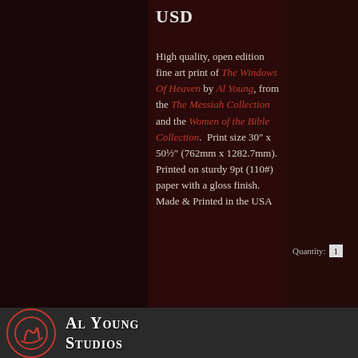USD
High quality, open edition fine art print of The Windows Of Heaven by Al Young, from the The Messiah Collection and the Women of the Bible Collection. Print size 30″ x 50½″ (762mm x 1282.7mm). Printed on sturdy 9pt (110#) paper with a gloss finish. Made & Printed in the USA
Al Young Studios  Quantity: 1